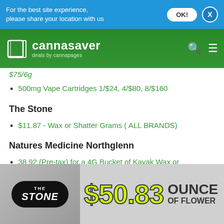For the best site experience, please share your location with us
[Figure (logo): Cannasaver - deals by cannapages logo with green navigation bar]
$75/6g
500mg Vape Cartridges 1/$24, 4/$80, 8/$160
The Stone
$11.87 - Wax or Shatter Grams ( ALL BRANDS)
Natures Medicine Northglenn
38.92 (Pre-tax) for a 4G Bucket of Kayak Wax or
[Figure (infographic): The Stone dispensary ad banner: black oval logo with THE STONE text, $50.83 price in large yellow-green font, OUNCE OF FLOWER text]